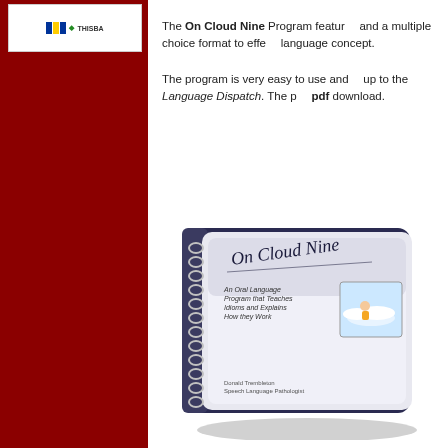[Figure (logo): Logo box with flag/emblem in white box at top of red sidebar]
The On Cloud Nine Program features and a multiple choice format to effectively teach each language concept.
The program is very easy to use and up to the Language Dispatch. The program is available as a pdf download.
[Figure (photo): A spiral-bound book titled 'On Cloud Nine - An Oral Language Program that Teaches Idioms and Explains How they Work' with an illustration of a person on a cloud on the cover]